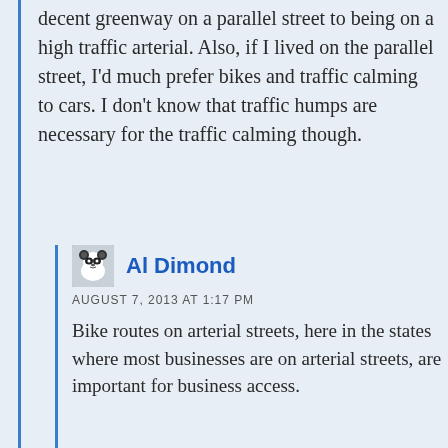decent greenway on a parallel street to being on a high traffic arterial. Also, if I lived on the parallel street, I'd much prefer bikes and traffic calming to cars. I don't know that traffic humps are necessary for the traffic calming though.
Al Dimond
AUGUST 7, 2013 AT 1:17 PM
Bike routes on arterial streets, here in the states where most businesses are on arterial streets, are important for business access.